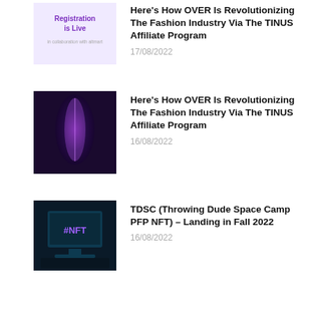[Figure (illustration): Purple/white thumbnail showing 'Registration is Live in collaboration with altmart' text on light purple background]
Here's How OVER Is Revolutionizing The Fashion Industry Via The TINUS Affiliate Program
17/08/2022
[Figure (photo): Dark photo of a glowing neon figure/person with purple and pink light effects against dark background]
Here's How OVER Is Revolutionizing The Fashion Industry Via The TINUS Affiliate Program
16/08/2022
[Figure (photo): Dark teal-toned photo of a computer monitor displaying '#NFT' text]
TDSC (Throwing Dude Space Camp PFP NFT) – Landing in Fall 2022
16/08/2022